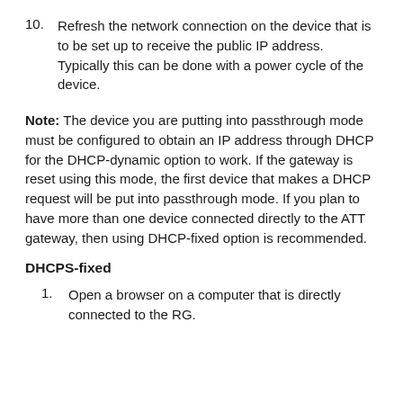10. Refresh the network connection on the device that is to be set up to receive the public IP address. Typically this can be done with a power cycle of the device.
Note: The device you are putting into passthrough mode must be configured to obtain an IP address through DHCP for the DHCP-dynamic option to work. If the gateway is reset using this mode, the first device that makes a DHCP request will be put into passthrough mode. If you plan to have more than one device connected directly to the ATT gateway, then using DHCP-fixed option is recommended.
DHCPS-fixed
1. Open a browser on a computer that is directly connected to the RG.